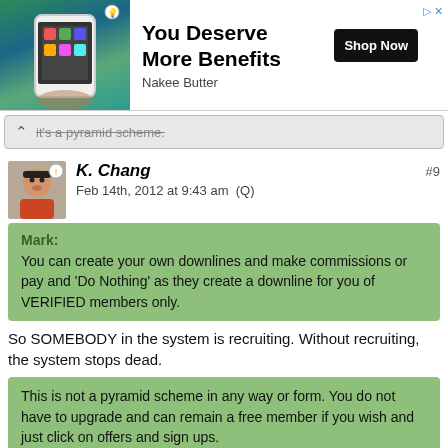[Figure (photo): Advertisement banner for Nakee Butter showing a phone with app, bold text 'You Deserve More Benefits', brand name 'Nakee Butter', and a black 'Shop Now' button.]
It's a pyramid scheme.
K. Chang
Feb 14th, 2012 at 9:43 am  (Q)
#9
Mark:
You can create your own downlines and make commissions or pay and 'Do Nothing' as they create a downline for you of VERIFIED members only.
So SOMEBODY in the system is recruiting. Without recruiting, the system stops dead.
This is not a pyramid scheme in any way or form. You do not have to upgrade and can remain a free member if you wish and just click on offers and sign ups.